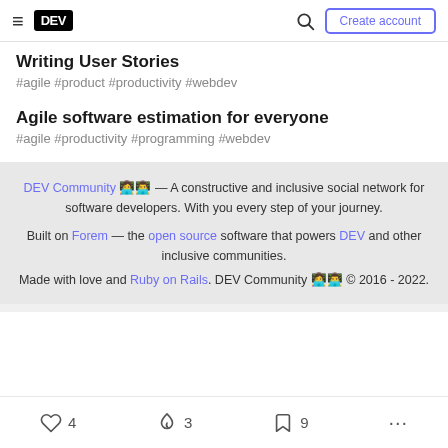DEV — Create account
Writing User Stories
#agile #product #productivity #webdev
Agile software estimation for everyone
#agile #productivity #programming #webdev
DEV Community 👩‍💻👨‍💻 — A constructive and inclusive social network for software developers. With you every step of your journey.

Built on Forem — the open source software that powers DEV and other inclusive communities.
Made with love and Ruby on Rails. DEV Community 👩‍💻👨‍💻 © 2016 - 2022.
♡ 4   🔥 3   🔖 9   ...